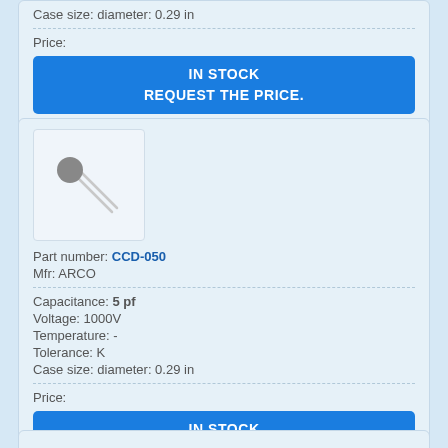Case size: diameter: 0.29 in
Price:
IN STOCK
REQUEST THE PRICE.
[Figure (photo): Ceramic disc capacitor component illustration showing a round disc body with two wire leads extending diagonally]
Part number: CCD-050
Mfr: ARCO
Capacitance: 5 pf
Voltage: 1000V
Temperature: -
Tolerance: K
Case size: diameter: 0.29 in
Price:
IN STOCK
REQUEST THE PRICE.